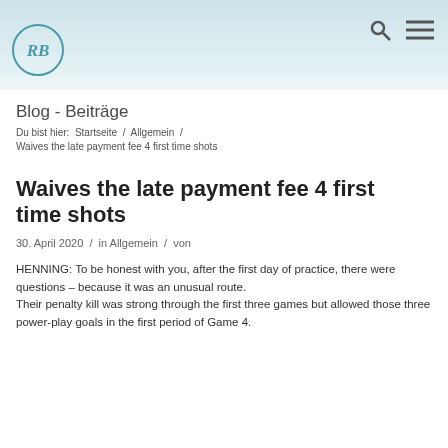RB Logo / Search / Menu
Blog - Beiträge
Du bist hier:  Startseite  /  Allgemein  /  Waives the late payment fee 4 first time shots
Waives the late payment fee 4 first time shots
30. April 2020  /  in Allgemein  /  von
HENNING: To be honest with you, after the first day of practice, there were questions – because it was an unusual route.
Their penalty kill was strong through the first three games but allowed those three power-play goals in the first period of Game 4.